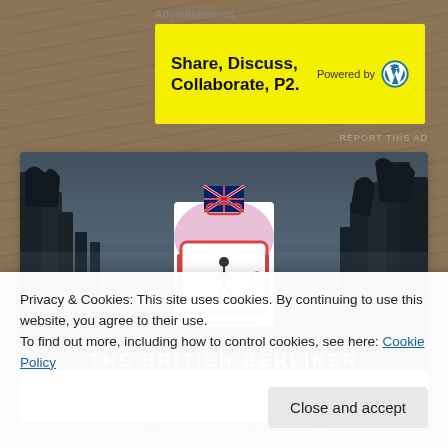Advertisements
[Figure (infographic): Yellow advertisement banner: 'Share, Discuss, Collaborate, P2.' with WordPress logo and 'Powered by' text]
REPORT THIS AD
[Figure (photo): Foggy dark forest background with The British Berliner blog logo in center, and partial title text at bottom]
Privacy & Cookies: This site uses cookies. By continuing to use this website, you agree to their use.
To find out more, including how to control cookies, see here: Cookie Policy
Close and accept